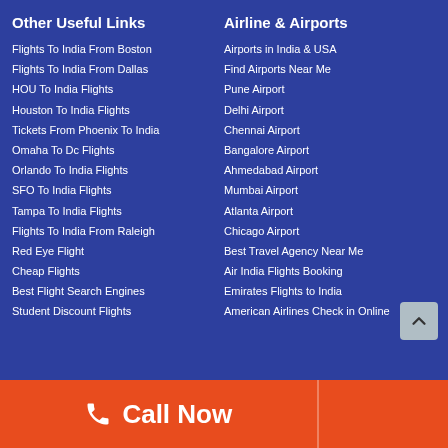Other Useful Links
Flights To India From Boston
Flights To India From Dallas
HOU To India Flights
Houston To India Flights
Tickets From Phoenix To India
Omaha To Dc Flights
Orlando To India Flights
SFO To India Flights
Tampa To India Flights
Flights To India From Raleigh
Red Eye Flight
Cheap Flights
Best Flight Search Engines
Student Discount Flights
Airline & Airports
Airports in India & USA
Find Airports Near Me
Pune Airport
Delhi Airport
Chennai Airport
Bangalore Airport
Ahmedabad Airport
Mumbai Airport
Atlanta Airport
Chicago Airport
Best Travel Agency Near Me
Air India Flights Booking
Emirates Flights to India
American Airlines Check in Online
Call Now